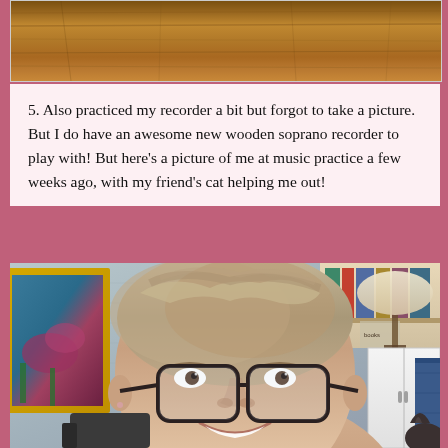[Figure (photo): Top portion of a photo showing a wooden surface or table top, cropped at the bottom]
5. Also practiced my recorder a bit but forgot to take a picture. But I do have an awesome new wooden soprano recorder to play with! But here's a picture of me at music practice a few weeks ago, with my friend's cat helping me out!
[Figure (photo): Photo of a smiling woman with short gray-brown hair and dark-rimmed glasses, sitting at what appears to be music practice. Behind her is a room with a yellow-framed painting, bookshelves, and a lamp. A cat is presumably helping her practice.]